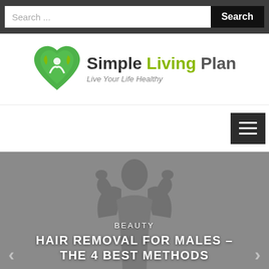Search ...
[Figure (logo): Simple Living Plan logo with green heart/leaf icon and tagline 'Live Your Life Healthy']
[Figure (other): Navigation bar with hamburger menu icon (three horizontal lines) on dark background]
[Figure (photo): Hero image of a man with arms raised behind head, overlaid with text 'BEAUTY' and 'HAIR REMOVAL FOR MALES – THE 4 BEST METHODS', navigation arrows on sides]